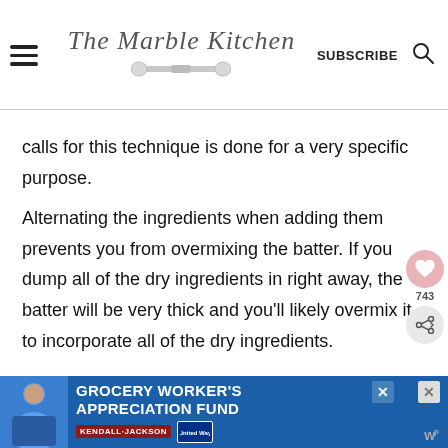The Marble Kitchen — SUBSCRIBE
calls for this technique is done for a very specific purpose.
Alternating the ingredients when adding them prevents you from overmixing the batter. If you dump all of the dry ingredients in right away, the batter will be very thick and you'll likely overmix it to incorporate all of the dry ingredients.
[Figure (other): Advertisement banner for Grocery Worker's Appreciation Fund with Kendall Jackson and United Way logos]